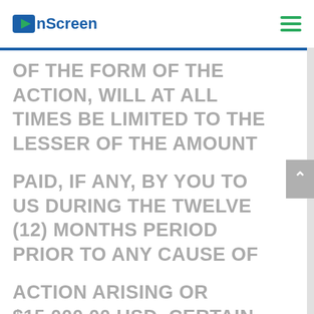OnScreen
OF THE FORM OF THE ACTION, WILL AT ALL TIMES BE LIMITED TO THE LESSER OF THE AMOUNT
PAID, IF ANY, BY YOU TO US DURING THE TWELVE (12) MONTHS PERIOD PRIOR TO ANY CAUSE OF
ACTION ARISING OR $15,000.00 USD. CERTAIN STATE LAWS DO NOT ALLOW LIMITATIONS ON